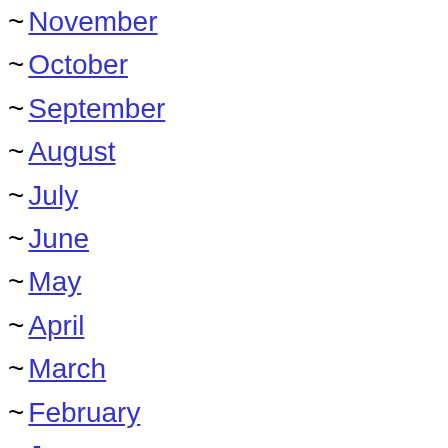~ November
~ October
~ September
~ August
~ July
~ June
~ May
~ April
~ March
~ February
~ January
2016
~ December
~ November
~ October
~ September
~ August
~ July
~ June
~ May
~ April
~ March
~ February
~ January